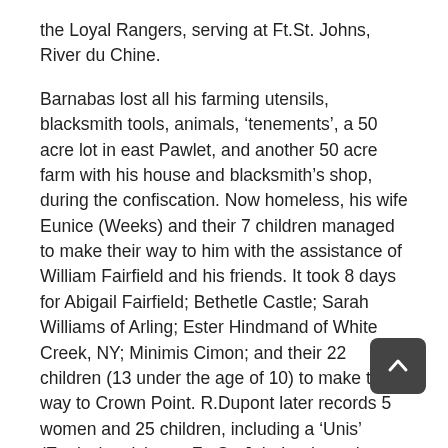the Loyal Rangers, serving at Ft.St. Johns, River du Chine.
Barnabas lost all his farming utensils, blacksmith tools, animals, ‘tenements’, a 50 acre lot in east Pawlet, and another 50 acre farm with his house and blacksmith’s shop, during the confiscation. Now homeless, his wife Eunice (Weeks) and their 7 children managed to make their way to him with the assistance of William Fairfield and his friends. It took 8 days for Abigail Fairfield; Bethetle Castle; Sarah Williams of Arling; Ester Hindmand of White Creek, NY; Minimis Cimon; and their 22 children (13 under the age of 10) to make their way to Crown Point. R.Dupont later records 5 women and 25 children, including a ‘Unis’ (Eunice) arriving at Ft. St. John’s where they gave as much intelligence as they could before joining their husbands. During the Claims for Losses process, Barnabas Hough and William Fairfield and others were Witnesses for each